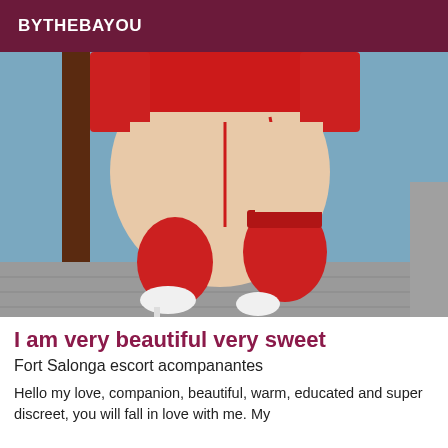BYTHEBAYOU
[Figure (photo): A person wearing red lingerie, red stockings and white high heels, posed bending over, photographed from behind against a blue wall and tiled floor backdrop.]
I am very beautiful very sweet
Fort Salonga escort acompanantes
Hello my love, companion, beautiful, warm, educated and super discreet, you will fall in love with me. My